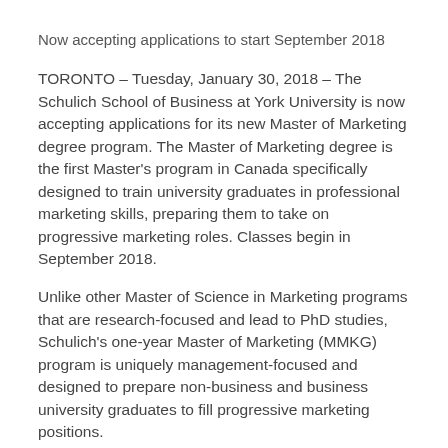Now accepting applications to start September 2018
TORONTO – Tuesday, January 30, 2018 – The Schulich School of Business at York University is now accepting applications for its new Master of Marketing degree program. The Master of Marketing degree is the first Master's program in Canada specifically designed to train university graduates in professional marketing skills, preparing them to take on progressive marketing roles. Classes begin in September 2018.
Unlike other Master of Science in Marketing programs that are research-focused and lead to PhD studies, Schulich's one-year Master of Marketing (MMKG) program is uniquely management-focused and designed to prepare non-business and business university graduates to fill progressive marketing positions.
“The Schulich Master of Marketing degree program will